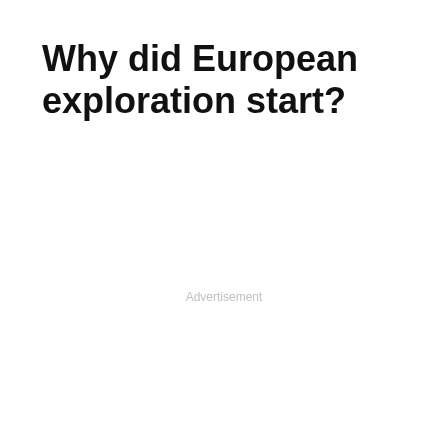Why did European exploration start?
Advertisement